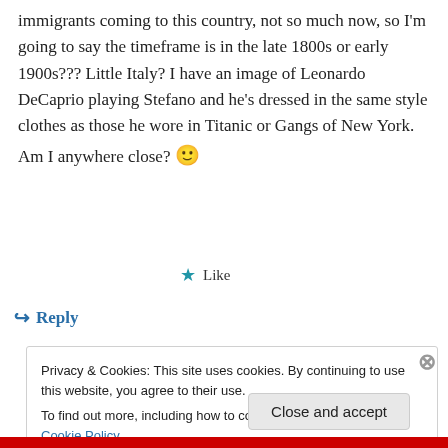immigrants coming to this country, not so much now, so I'm going to say the timeframe is in the late 1800s or early 1900s??? Little Italy? I have an image of Leonardo DeCaprio playing Stefano and he's dressed in the same style clothes as those he wore in Titanic or Gangs of New York. Am I anywhere close? 🙂
★ Like
↪ Reply
Privacy & Cookies: This site uses cookies. By continuing to use this website, you agree to their use.
To find out more, including how to control cookies, see here: Cookie Policy
Close and accept